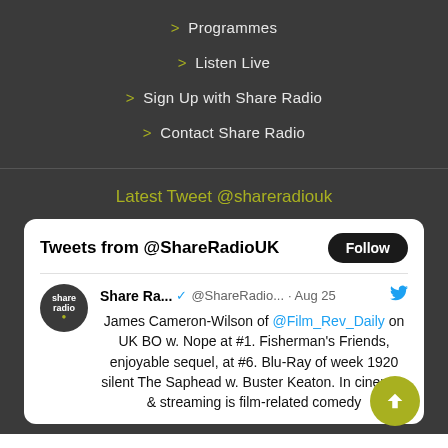> Programmes
> Listen Live
> Sign Up with Share Radio
> Contact Share Radio
Latest Tweet @shareradiouk
[Figure (screenshot): Embedded Twitter widget showing tweets from @ShareRadioUK with a Follow button. A tweet from Share Ra... @ShareRadio... Aug 25 reads: James Cameron-Wilson of @Film_Rev_Daily on UK BO w. Nope at #1. Fisherman's Friends, enjoyable sequel, at #6. Blu-Ray of week 1920 silent The Saphead w. Buster Keaton. In cinemas & streaming is film-related comedy...]